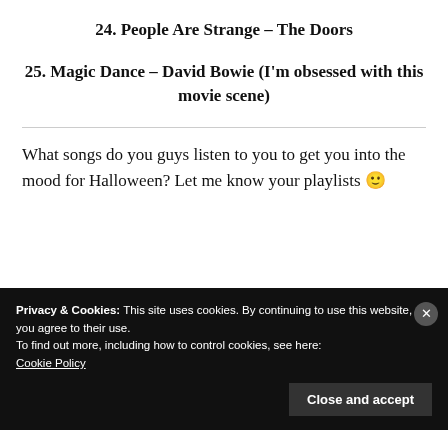24. People Are Strange – The Doors
25. Magic Dance – David Bowie (I'm obsessed with this movie scene)
What songs do you guys listen to you to get you into the mood for Halloween? Let me know your playlists 🙂
Privacy & Cookies: This site uses cookies. By continuing to use this website, you agree to their use.
To find out more, including how to control cookies, see here:
Cookie Policy